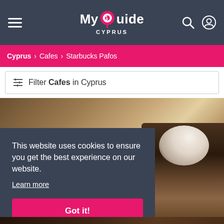My Guide CYPRUS
Cyprus > Cafes > Starbucks Pafos
Filter Cafes in Cyprus
[Figure (photo): Background photo of a coffee cup with whipped cream on a wooden surface, partially obscured by a cookie consent overlay]
This website uses cookies to ensure you get the best experience on our website.
Learn more
Got it!